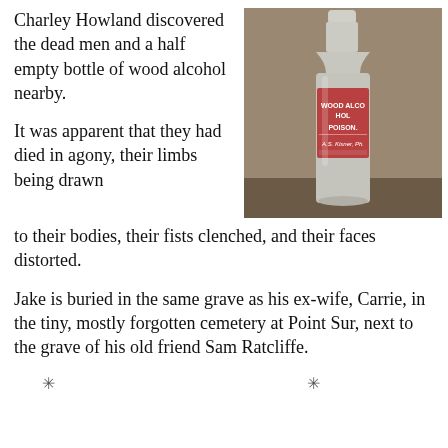Charley Howland discovered the dead men and a half empty bottle of wood alcohol nearby.
[Figure (photo): A vintage glass bottle with a red label reading 'WOOD ALCOHOL POISON' and 'A.S. KISNER, Ph.' photographed on a wooden surface.]
It was apparent that they had died in agony, their limbs being drawn to their bodies, their fists clenched, and their faces distorted.
Jake is buried in the same grave as his ex-wife, Carrie, in the tiny, mostly forgotten cemetery at Point Sur, next to the grave of his old friend Sam Ratcliffe.
✳        ✳        ✳